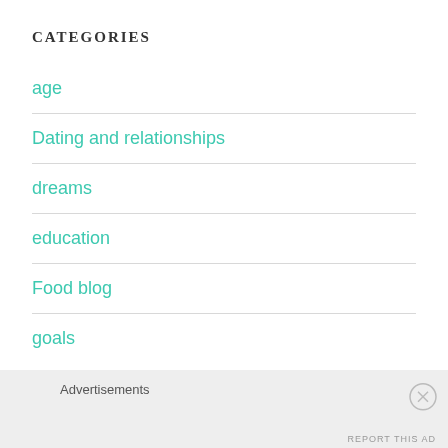CATEGORIES
age
Dating and relationships
dreams
education
Food blog
goals
Advertisements